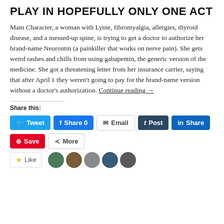PLAY IN HOPEFULLY ONLY ONE ACT
Main Character, a woman with Lyme, fibromyalgia, allergies, thyroid disease, and a messed-up spine, is trying to get a doctor to authorize her brand-name Neurontin (a painkiller that works on nerve pain). She gets weird rashes and chills from using gabapentin, the generic version of the medicine. She got a threatening letter from her insurance carrier, saying that after April 1 they weren't going to pay for the brand-name version without a doctor's authorization. Continue reading →
Share this:
[Figure (screenshot): Social share buttons: Tweet (Twitter/blue), Share 0 (Facebook/blue), Email (white/grey border), Post (Tumblr/dark), Share (LinkedIn/blue), Save (Pinterest/red), More (white/grey border)]
[Figure (screenshot): Like button box with star icon and 'Like' text, followed by five circular avatar images of blog followers]